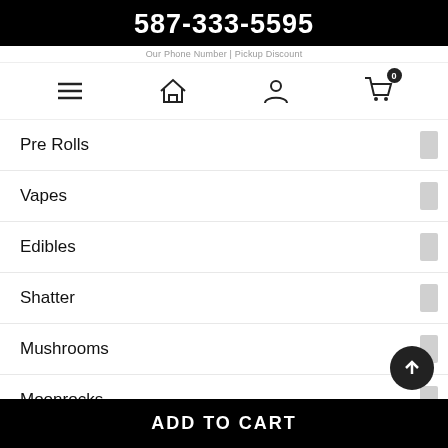587-333-5595
Our Phone Number | Pickup Discount
[Figure (screenshot): Navigation bar with hamburger menu, home icon, user icon, and shopping cart with 0 badge]
Pre Rolls
Vapes
Edibles
Shatter
Mushrooms
Moonrocks
Tinctures
Diamonds
CALGARY WEED DELIVERY
ADD TO CART